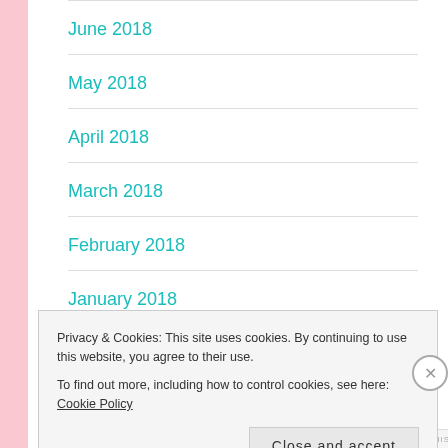June 2018
May 2018
April 2018
March 2018
February 2018
January 2018
Privacy & Cookies: This site uses cookies. By continuing to use this website, you agree to their use.
To find out more, including how to control cookies, see here: Cookie Policy
Close and accept